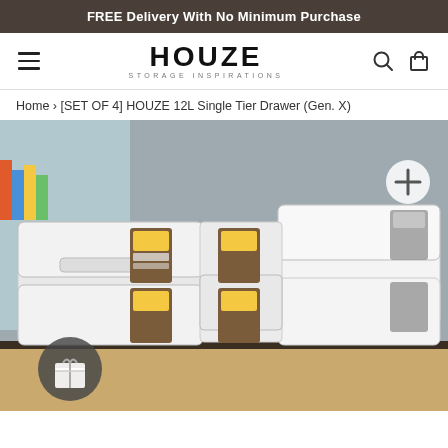FREE Delivery With No Minimum Purchase
[Figure (logo): HOUZE Storage Inspirations logo with hamburger menu, search icon, and cart icon in navigation bar]
Home › [SET OF 4] HOUZE 12L Single Tier Drawer (Gen. X)
[Figure (photo): Product photo showing four white plastic single-tier storage drawers (HOUZE 12L Gen. X) stacked in a 2x2 arrangement on a wooden shelf, with colorful books/items in the background. A plus (+) zoom button is visible in the upper right and a gift icon button in the lower left.]